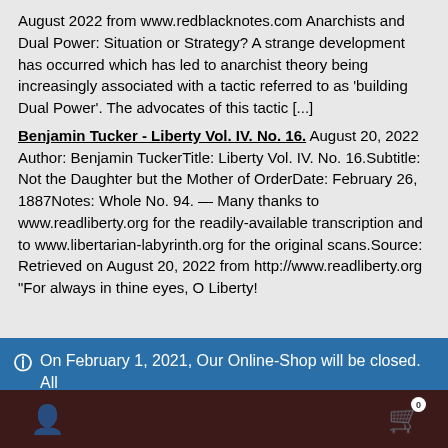August 2022 from www.redblacknotes.com Anarchists and Dual Power: Situation or Strategy? A strange development has occurred which has led to anarchist theory being increasingly associated with a tactic referred to as 'building Dual Power'. The advocates of this tactic [...]
Benjamin Tucker - Liberty Vol. IV. No. 16. August 20, 2022 Author: Benjamin TuckerTitle: Liberty Vol. IV. No. 16.Subtitle: Not the Daughter but the Mother of OrderDate: February 26, 1887Notes: Whole No. 94. — Many thanks to www.readliberty.org for the readily-available transcription and to www.libertarian-labyrinth.org for the original scans.Source: Retrieved on August 20, 2022 from http://www.readliberty.org "For always in thine eyes, O Liberty!
On February 1, 2021, Our Online-Shop will be closed. All orders until January 31 will be delivered Dismiss
We use cookies to ensure that we give you the best experience on our website. If you continue to use this site we will assume that you are happy with it.